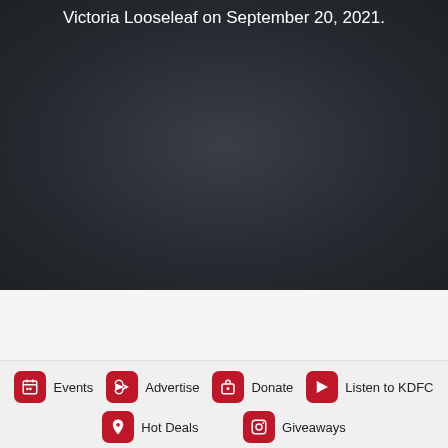Victoria Looseleaf on September 20, 2021.
Events  Advertise  Donate  Listen to KDFC  Hot Deals  Giveaways